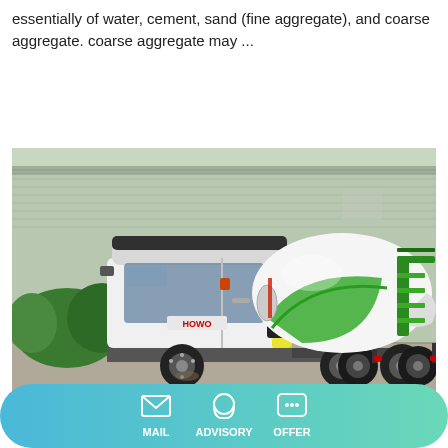essentially of water, cement, sand (fine aggregate), and coarse aggregate. coarse aggregate may ...
Learn More
[Figure (photo): A white HOWO concrete mixer truck with green and white mixing drum, parked in front of an industrial warehouse building. The truck has multiple rear axles and a green ladder/frame structure on the rear.]
Weigh Batching System
MAIL   ADVISORY   OFFER